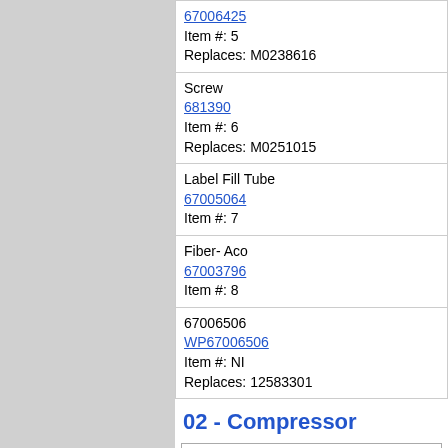| 67006425
Item #: 5
Replaces: M0238616 |
| Screw
681390
Item #: 6
Replaces: M0251015 |
| Label Fill Tube
67005064
Item #: 7 |
| Fiber- Aco
67003796
Item #: 8 |
| 67006506
WP67006506
Item #: NI
Replaces: 12583301 |
02 - Compressor
[Figure (engineering-diagram): Compressor parts diagram showing numbered components including compressor unit (items 7, 8, 9, 10, 11, 13, 17) with mounting bracket and associated small parts]